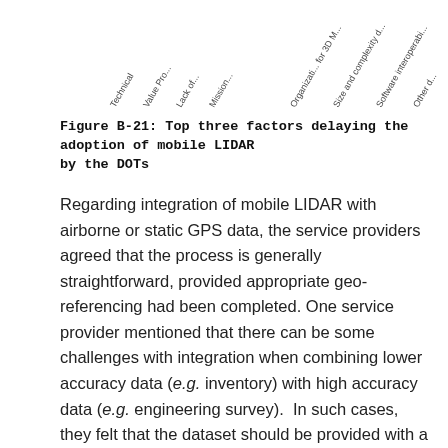[Figure (other): Partial view of a chart showing rotated axis labels including 'Technical', 'Value Proposition', 'Lack of...', 'Mission...', 'Organizational for 3D M...', 'Size and complexity d...', 'Software interoperabi...', 'Other d...']
Figure B-21: Top three factors delaying the adoption of mobile LIDAR by the DOTs
Regarding integration of mobile LIDAR with airborne or static GPS data, the service providers agreed that the process is generally straightforward, provided appropriate geo-referencing had been completed. One service provider mentioned that there can be some challenges with integration when combining lower accuracy data (e.g. inventory) with high accuracy data (e.g. engineering survey).  In such cases, they felt that the dataset should be provided with a disclaimer.  Several service providers mentioned that they have little experience with integrating airborne LIDAR data with mobile LIDAR data, but have integrated a substantial amount of static data